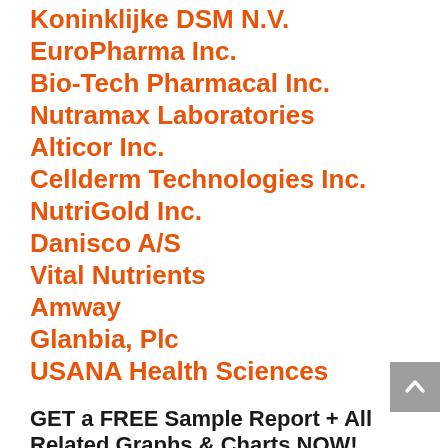Koninklijke DSM N.V.
EuroPharma Inc.
Bio-Tech Pharmacal Inc.
Nutramax Laboratories
Alticor Inc.
Cellderm Technologies Inc.
NutriGold Inc.
Danisco A/S
Vital Nutrients
Amway
Glanbia, Plc
USANA Health Sciences
GET a FREE Sample Report + All Related Graphs & Charts NOW!
https://www.qurateresearch.com/report/sam